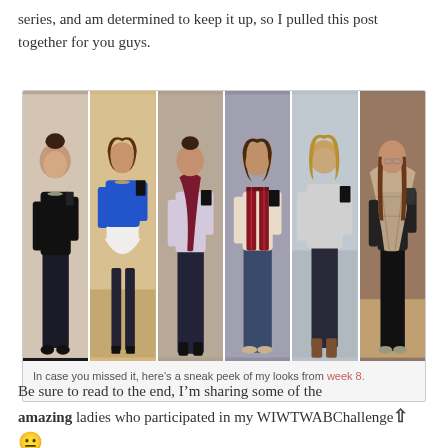series, and am determined to keep it up, so I pulled this post together for you guys.
[Figure (photo): Collage of 6 mirror selfie outfit photos showing different women's fashion looks. Each woman is holding a phone taking a mirror selfie. Outfits include: black lace top with dark jeans, blue top with white skater skirt and tights, burgundy scarf with dark jeans, plaid vest over cream top with jeans, grey top with dark jeans and boots, and a plaid blanket scarf outfit with leggings.]
In case you missed it, here's a sneak peek of my looks from week 8.
Be sure to read to the end, I'm sharing some of the amazing ladies who participated in my WIWTWABChallenge.